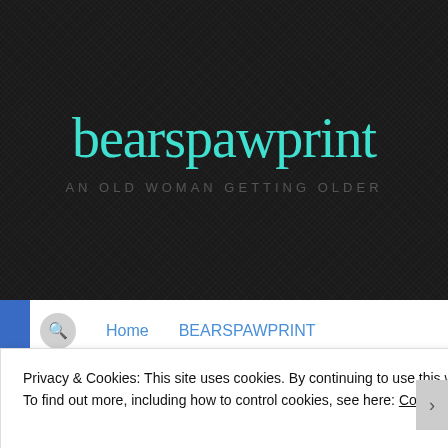bearspawprint
AN OLD WOMAN GETTING OLDER
Home   BEARSPAWPRINT
Bump Onna Log   Disclaimer and Copyright
Privacy & Cookies: This site uses cookies. By continuing to use this website, you agree to their use.
To find out more, including how to control cookies, see here: Cookie Policy
Close and accept